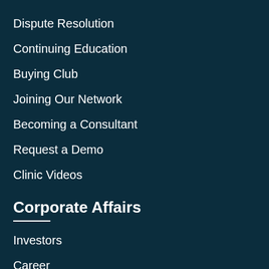Dispute Resolution
Continuing Education
Buying Club
Joining Our Network
Becoming a Consultant
Request a Demo
Clinic Videos
Corporate Affairs
Investors
Career
Affiliates
Business Development
Licensing